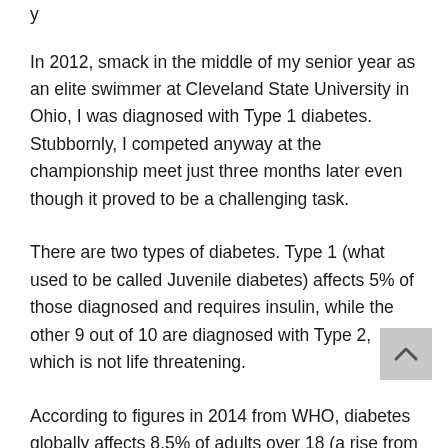y
In 2012, smack in the middle of my senior year as an elite swimmer at Cleveland State University in Ohio, I was diagnosed with Type 1 diabetes. Stubbornly, I competed anyway at the championship meet just three months later even though it proved to be a challenging task.
There are two types of diabetes. Type 1 (what used to be called Juvenile diabetes) affects 5% of those diagnosed and requires insulin, while the other 9 out of 10 are diagnosed with Type 2, which is not life threatening.
According to figures in 2014 from WHO, diabetes globally affects 8.5% of adults over 18 (a rise from 4.7%